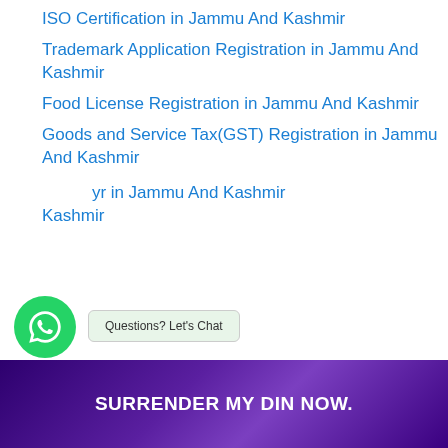ISO Certification in Jammu And Kashmir
Trademark Application Registration in Jammu And Kashmir
Food License Registration in Jammu And Kashmir
Goods and Service Tax(GST) Registration in Jammu And Kashmir
[Copyright] in Jammu And Kashmir
Questions? Let's Chat
SURRENDER MY DIN NOW.